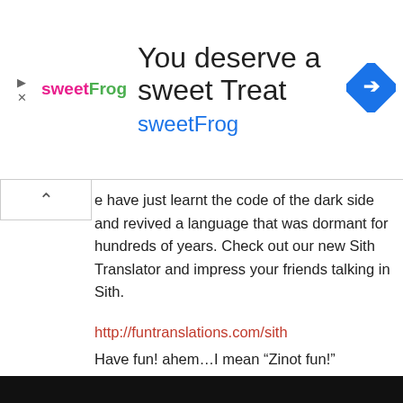[Figure (other): sweetFrog advertisement banner with logo, text 'You deserve a sweet Treat' and 'sweetFrog', and a blue diamond navigation icon]
e have just learnt the code of the dark side and revived a language that was dormant for hundreds of years. Check out our new Sith Translator and impress your friends talking in Sith.
http://funtranslations.com/sith
Have fun! ahem…I mean "Zinot fun!"
Posted in Announcements
← Older posts